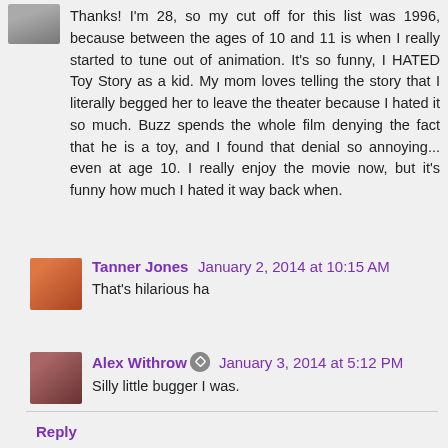Thanks! I'm 28, so my cut off for this list was 1996, because between the ages of 10 and 11 is when I really started to tune out of animation. It's so funny, I HATED Toy Story as a kid. My mom loves telling the story that I literally begged her to leave the theater because I hated it so much. Buzz spends the whole film denying the fact that he is a toy, and I found that denial so annoying... even at age 10. I really enjoy the movie now, but it's funny how much I hated it way back when.
Tanner Jones  January 2, 2014 at 10:15 AM
That's hilarious ha
Alex Withrow  January 3, 2014 at 5:12 PM
Silly little bugger I was.
Reply